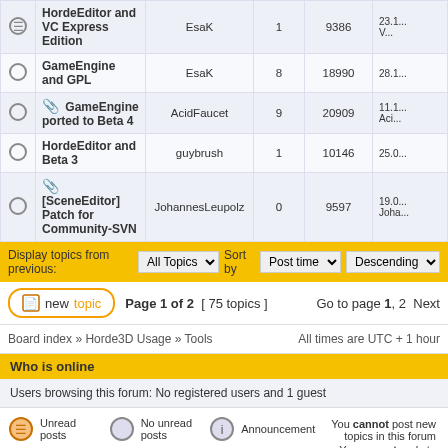|  | Topic | Author | Replies | Views | Last post |
| --- | --- | --- | --- | --- | --- |
| icon | HordeEditor and VC Express Edition | EsaK | 1 | 9386 | 23.1... |
| icon | GameEngine and GPL | EsaK | 8 | 18990 | 28.1... |
| icon | [attachment] GameEngine ported to Beta 4 | AcidFaucet | 9 | 20909 | 11.1... Aci... |
| icon | HordeEditor and Beta 3 | guybrush | 1 | 10146 | 25.0... |
| icon | [attachment] [SceneEditor] Patch for Community-SVN | JohannesLeupolz | 0 | 9597 | 19.0... Joha... |
Display topics from previous: All Topics  Sort by  Post time  Descending
new topic  Page 1 of 2  [ 75 topics ]  Go to page 1, 2  Next
Board index » Horde3D Usage » Tools    All times are UTC + 1 hour
Who is online
Users browsing this forum: No registered users and 1 guest
Unread posts | No unread posts | Announcement | You cannot post new topics in this forum
Unread posts [ Popular ] | No unread posts [ Popular ] | Sticky | You cannot reply to topics in this forum